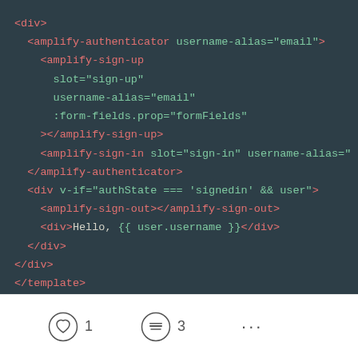[Figure (screenshot): Code editor screenshot showing Vue.js template HTML with amplify-authenticator, amplify-sign-up, amplify-sign-in, amplify-sign-out components, and a script tag on a dark background.]
1  3  ...